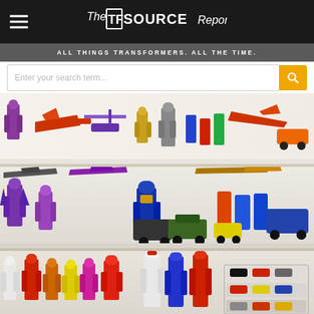The TF Source Report - ALL THINGS TRANSFORMERS. ALL THE TIME.
[Figure (screenshot): Website screenshot of The TF Source Report, a Transformers collector blog. Shows a header with hamburger menu and logo, a tagline bar reading ALL THINGS TRANSFORMERS. ALL THE TIME., a search bar, and three shelves of Transformers toy figures including Decepticons (purple), various jet and vehicle modes, and Autobot figures in robot mode.]